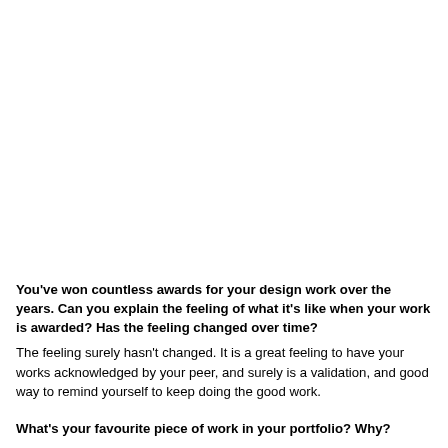You've won countless awards for your design work over the years. Can you explain the feeling of what it's like when your work is awarded? Has the feeling changed over time?
The feeling surely hasn't changed. It is a great feeling to have your works acknowledged by your peer, and surely is a validation, and good way to remind yourself to keep doing the good work.
What's your favourite piece of work in your portfolio? Why?